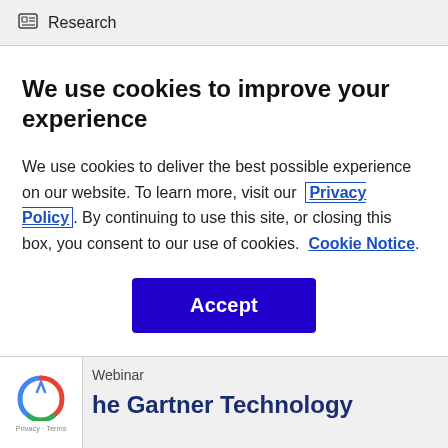Research
We use cookies to improve your experience
We use cookies to deliver the best possible experience on our website. To learn more, visit our  Privacy Policy . By continuing to use this site, or closing this box, you consent to our use of cookies.  Cookie Notice.
[Figure (other): Blue Accept button]
Webinar
The Gartner Technology